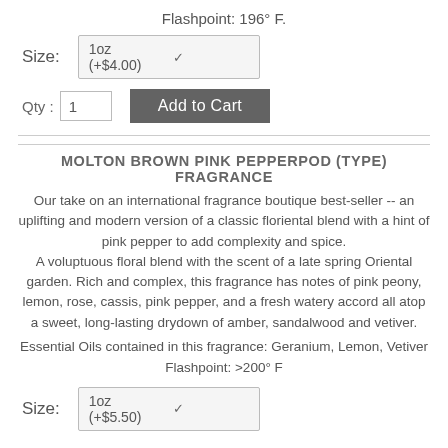Flashpoint: 196° F.
Size: 1oz (+$4.00)
Qty : 1   Add to Cart
MOLTON BROWN PINK PEPPERPOD (TYPE) FRAGRANCE
Our take on an international fragrance boutique best-seller -- an uplifting and modern version of a classic floriental blend with a hint of pink pepper to add complexity and spice. A voluptuous floral blend with the scent of a late spring Oriental garden. Rich and complex, this fragrance has notes of pink peony, lemon, rose, cassis, pink pepper, and a fresh watery accord all atop a sweet, long-lasting drydown of amber, sandalwood and vetiver.
Essential Oils contained in this fragrance: Geranium, Lemon, Vetiver
Flashpoint: >200° F
Size: 1oz (+$5.50)